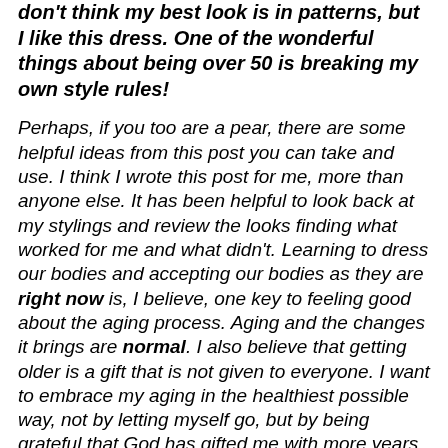don't think my best look is in patterns, but I like this dress. One of the wonderful things about being over 50 is breaking my own style rules!
Perhaps, if you too are a pear, there are some helpful ideas from this post you can take and use. I think I wrote this post for me, more than anyone else. It has been helpful to look back at my stylings and review the looks finding what worked for me and what didn't. Learning to dress our bodies and accepting our bodies as they are right now is, I believe, one key to feeling good about the aging process. Aging and the changes it brings are normal. I also believe that getting older is a gift that is not given to everyone. I want to embrace my aging in the healthiest possible way, not by letting myself go, but by being grateful that God has gifted me with more years to live on this Earth serving Him and enjoying my family, friends, nature, reading books, blogging and all of the wonderful things life has to offer. And while I'm not